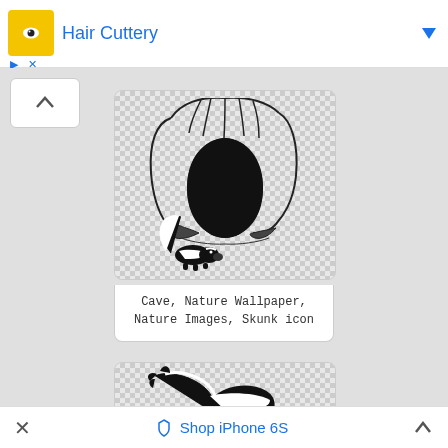[Figure (screenshot): Hair Cuttery advertisement banner with yellow logo icon, blue text 'Hair Cuttery', blue dropdown arrow, and ad control icons (play, close)]
[Figure (illustration): A cave entrance with tree roots and a skunk standing below it, drawn in black and white line art on a checkered transparent background]
Cave, Nature Wallpaper, Nature Images, Skunk icon
[Figure (illustration): A colorful skunk illustration showing the animal from above with black and white fur and pink paw visible, on a checkered transparent background]
[Figure (screenshot): Bottom advertisement bar with close (×) button, tag icon and 'Shop iPhone 6S' text in blue, and expand (^) button]